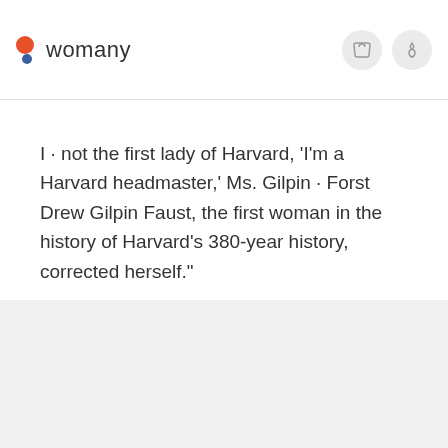womany
I · not the first lady of Harvard, 'I'm a Harvard headmaster,' Ms. Gilpin · Forst Drew Gilpin Faust, the first woman in the history of Harvard's 380-year history, corrected herself."